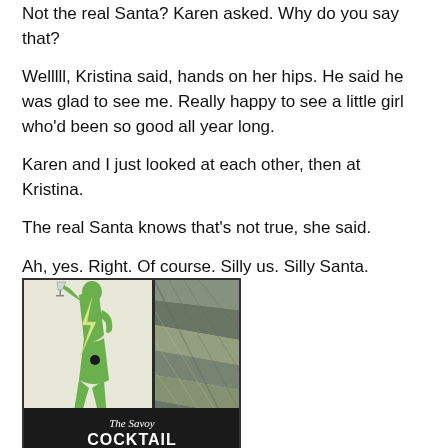Not the real Santa? Karen asked.  Why do you say that?
Welllll, Kristina said, hands on her hips.  He said he was glad to see me.  Really happy to see a little girl who'd been so good all year long.
Karen and I just looked at each other, then at Kristina.
The real Santa knows that's not true, she said.
Ah, yes.  Right.  Of course.  Silly us.  Silly Santa.
[Figure (photo): Book cover of 'The Savoy Cocktail Book' featuring an Art Deco style illustration of a green figure holding a cocktail glass with a lightning bolt, split panel design with decorative geometric pattern on the right side]